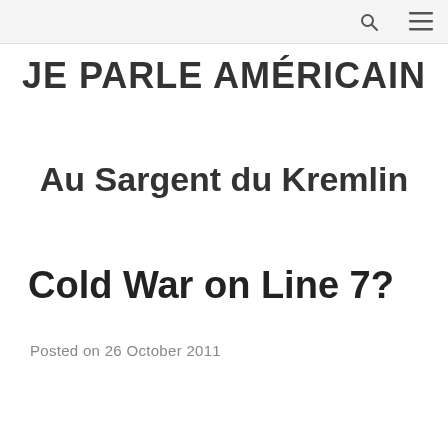JE PARLE AMÉRICAIN [search icon] [menu icon]
JE PARLE AMÉRICAIN
Au Sargent du Kremlin
Cold War on Line 7?
Posted on 26 October 2011